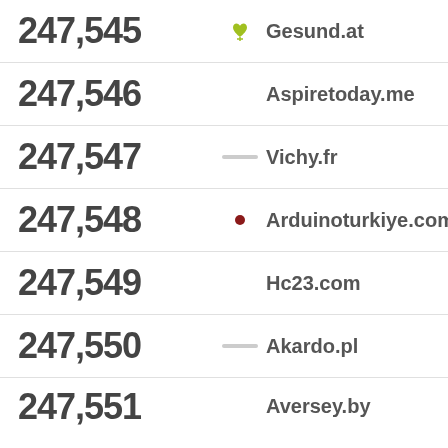247,545 Gesund.at
247,546 Aspiretoday.me
247,547 Vichy.fr
247,548 Arduinoturkiye.com
247,549 Hc23.com
247,550 Akardo.pl
247,551 Aversey.by